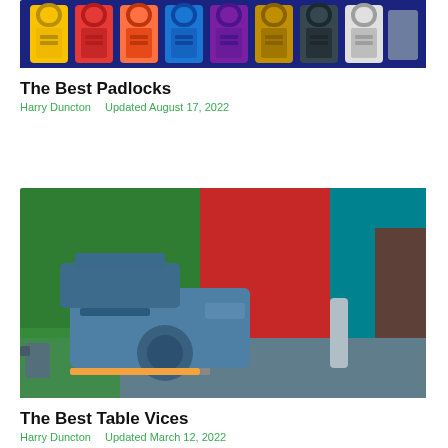[Figure (photo): Row of colorful combination padlocks on a blue background — yellow, red, orange, blue, purple, orange/gold, black, white/gray]
The Best Padlocks
Harry Duncton   Updated August 17, 2022
[Figure (photo): Blue bench vise/table vice on a workbench with colorful green, red, and teal background panels; a pencil and metal rod on the bench surface]
The Best Table Vices
Harry Duncton   Updated March 12, 2022